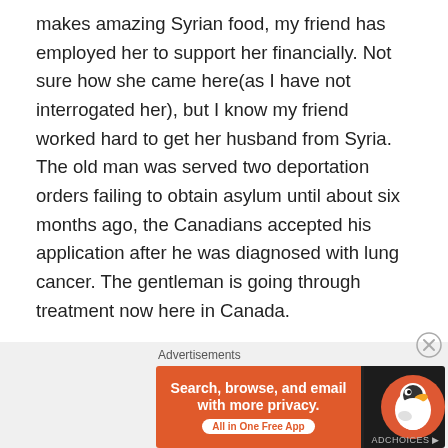makes amazing Syrian food, my friend has employed her to support her financially. Not sure how she came here(as I have not interrogated her), but I know my friend worked hard to get her husband from Syria. The old man was served two deportation orders failing to obtain asylum until about six months ago, the Canadians accepted his application after he was diagnosed with lung cancer. The gentleman is going through treatment now here in Canada.

My friend is also working to get her widowed daughter, with two sons 21 and 22 years old who are stuck in Syria. Her daughter's husband had died in Syria 3 years ago from some medical ailment, failing to get treatment. My
Advertisements
[Figure (screenshot): DuckDuckGo advertisement banner with orange left section reading 'Search, browse, and email with more privacy. All in One Free App' and dark right section with DuckDuckGo duck logo]